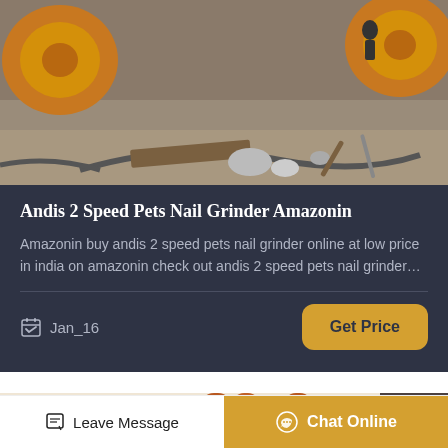[Figure (photo): Construction site with orange/yellow heavy machinery discs, cables, debris, rocks and tools on sandy ground]
Andis 2 Speed Pets Nail Grinder Amazonin
Amazonin buy andis 2 speed pets nail grinder online at low price in india on amazonin check out andis 2 speed pets nail grinder…
Jan_16
[Figure (photo): Partially visible image of orange/brown metal pipes or tubes against a light beige background, with a scroll-to-top button]
Leave Message
Chat Online